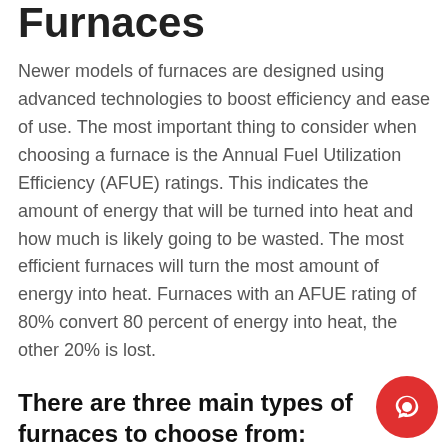Furnaces
Newer models of furnaces are designed using advanced technologies to boost efficiency and ease of use. The most important thing to consider when choosing a furnace is the Annual Fuel Utilization Efficiency (AFUE) ratings. This indicates the amount of energy that will be turned into heat and how much is likely going to be wasted. The most efficient furnaces will turn the most amount of energy into heat. Furnaces with an AFUE rating of 80% convert 80 percent of energy into heat, the other 20% is lost.
There are three main types of furnaces to choose from:
Gas furnaces: These units use natural gas to operate. It requires a gas line, which is often supplied by local utility companies through their supply pipe. This may not be available in very remote areas. The main advantage of natural gas furnaces is that they may cost less to operate than other heating options. Natural gas has become very cost-effective in recent years.
[Figure (other): Red circular chat bubble button in bottom-right corner]